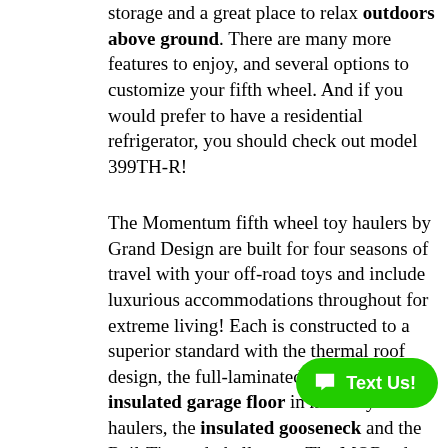storage and a great place to relax outdoors above ground. There are many more features to enjoy, and several options to customize your fifth wheel. And if you would prefer to have a residential refrigerator, you should check out model 399TH-R!
The Momentum fifth wheel toy haulers by Grand Design are built for four seasons of travel with your off-road toys and include luxurious accommodations throughout for extreme living! Each is constructed to a superior standard with the thermal roof design, the full-laminated walls, the triple insulated garage floor in most toy haulers, the insulated gooseneck and the Rail-Tite underbelly seat. The MORryde CRE suspension system and rubber pi the upgraded axle hangers provide the performance and smooth towing you desire